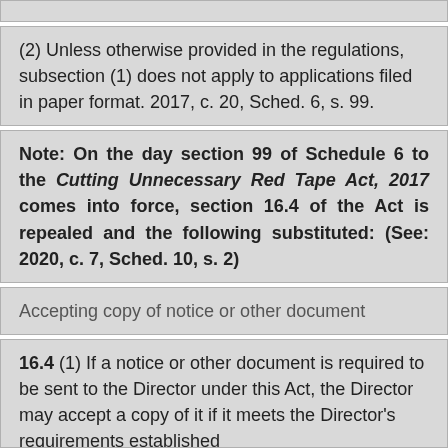(partial top block — cropped)
(2) Unless otherwise provided in the regulations, subsection (1) does not apply to applications filed in paper format. 2017, c. 20, Sched. 6, s. 99.
Note: On the day section 99 of Schedule 6 to the Cutting Unnecessary Red Tape Act, 2017 comes into force, section 16.4 of the Act is repealed and the following substituted: (See: 2020, c. 7, Sched. 10, s. 2)
Accepting copy of notice or other document
16.4 (1) If a notice or other document is required to be sent to the Director under this Act, the Director may accept a copy of it if it meets the Director's requirements established